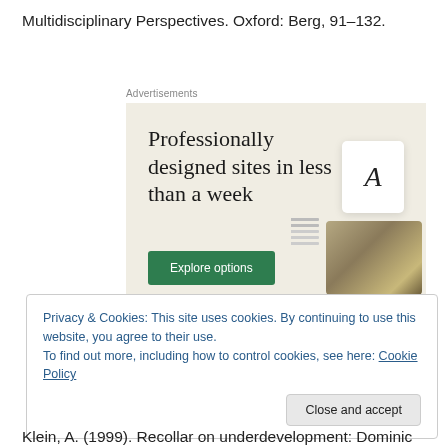Multidisciplinary Perspectives. Oxford: Berg, 91–132.
[Figure (other): Advertisement for a website design service. Beige/cream background with headline 'Professionally designed sites in less than a week', a green 'Explore options' button, and mockup screenshots of websites. Labeled 'Advertisements' at top.]
Privacy & Cookies: This site uses cookies. By continuing to use this website, you agree to their use.
To find out more, including how to control cookies, see here: Cookie Policy
Klein, A. (1999). Recollar on underdevelopment: Dominic